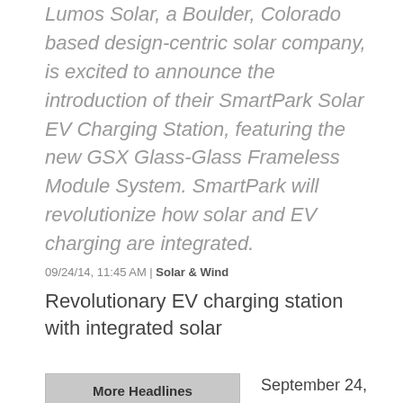Lumos Solar, a Boulder, Colorado based design-centric solar company, is excited to announce the introduction of their SmartPark Solar EV Charging Station, featuring the new GSX Glass-Glass Frameless Module System. SmartPark will revolutionize how solar and EV charging are integrated.
09/24/14, 11:45 AM | Solar & Wind
Revolutionary EV charging station with integrated solar
More Headlines
Stryten Energy Applauds Investments in Energy Security and U.S. Manufacturers
September 24, 2014
Boulder, CO
Lumos Solar, a Boulder, Colorado based design-